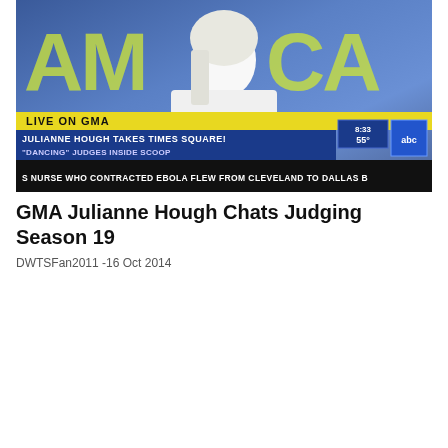[Figure (screenshot): Screenshot of a GMA (Good Morning America) TV broadcast showing Julianne Hough on set. Lower third graphics read 'LIVE ON GMA', 'JULIANNE HOUGH TAKES TIMES SQUARE!', '"DANCING" JUDGES INSIDE SCOOP', and a news ticker reads 'S NURSE WHO CONTRACTED EBOLA FLEW FROM CLEVELAND TO DALLAS B'. Time shown: 8:33, 55 degrees. ABC logo visible.]
GMA Julianne Hough Chats Judging Season 19
DWTSFan2011 -16 Oct 2014